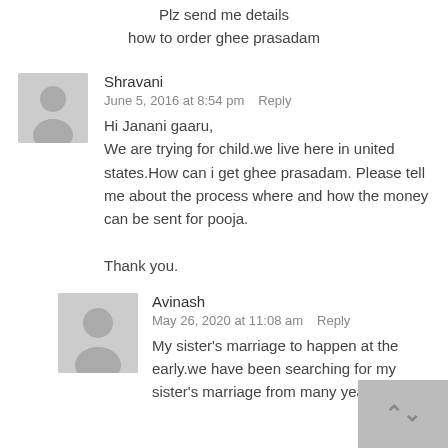Plz send me details how to order ghee prasadam
Shravani
June 5, 2016 at 8:54 pm   Reply

Hi Janani gaaru,
We are trying for child.we live here in united states.How can i get ghee prasadam. Please tell me about the process where and how the money can be sent for pooja.

Thank you.
Avinash
May 26, 2020 at 11:08 am   Reply

My sister's marriage to happen at the early.we have been searching for my sister's marriage from many years.pls